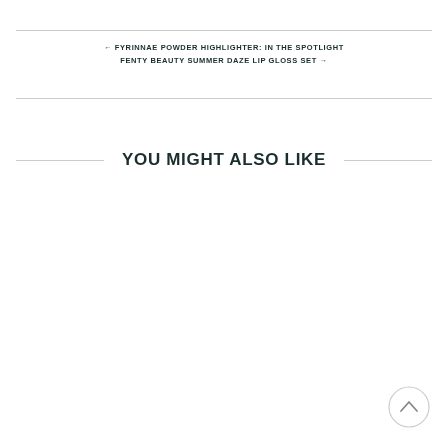← FYRINNAE POWDER HIGHLIGHTER: IN THE SPOTLIGHT
FENTY BEAUTY SUMMER DAZE LIP GLOSS SET →
YOU MIGHT ALSO LIKE